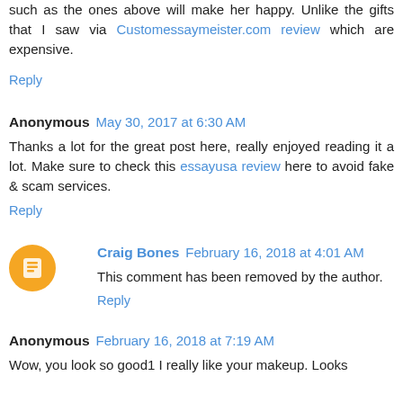such as the ones above will make her happy. Unlike the gifts that I saw via Customessaymeister.com review which are expensive.
Reply
Anonymous  May 30, 2017 at 6:30 AM
Thanks a lot for the great post here, really enjoyed reading it a lot. Make sure to check this essayusa review here to avoid fake & scam services.
Reply
Craig Bones  February 16, 2018 at 4:01 AM
This comment has been removed by the author.
Reply
Anonymous  February 16, 2018 at 7:19 AM
Wow, you look so good1 I really like your makeup. Looks